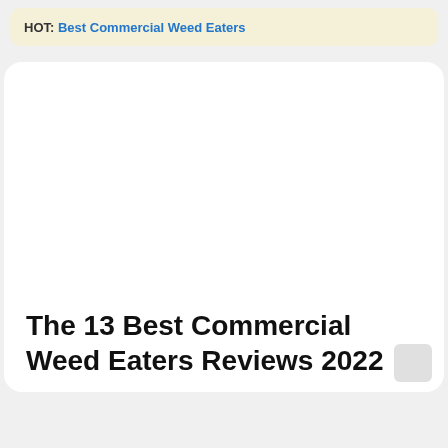HOT: Best Commercial Weed Eaters
The 13 Best Commercial Weed Eaters Reviews 2022